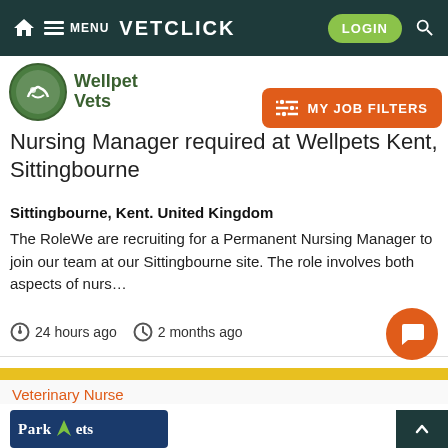VETCLICK — Navigation bar with HOME, MENU, LOGIN, SEARCH
[Figure (logo): Wellpet Vets logo — green circular emblem with dog silhouette, text 'Wellpet Vets']
MY JOB FILTERS
Nursing Manager required at Wellpets Kent, Sittingbourne
Sittingbourne, Kent. United Kingdom
The RoleWe are recruiting for a Permanent Nursing Manager to join our team at our Sittingbourne site. The role involves both aspects of nurs…
24 hours ago   2 months ago
Veterinary Nurse
[Figure (logo): Park Vets logo — dark blue background with green V checkmark and white text 'ParkVets']